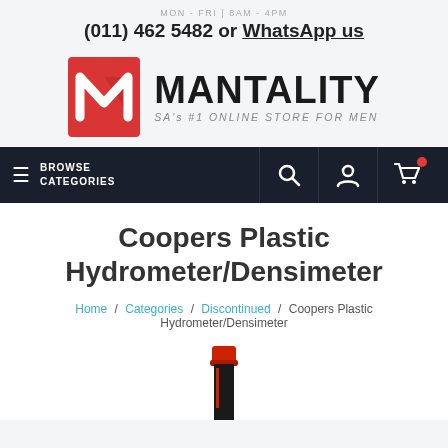MON - FRI | 8AM - 4PM
(011) 462 5482 or WhatsApp us
[Figure (logo): Mantality logo — red square with white M icon, MANTALITY text bold, tagline SA's #1 ONLINE STORE FOR MEN]
BROWSE CATEGORIES
Coopers Plastic Hydrometer/Densimeter
Home / Categories / Discontinued / Coopers Plastic Hydrometer/Densimeter
[Figure (photo): Coopers Plastic Hydrometer/Densimeter product image — cylindrical item with red cap, partially visible at bottom of page]